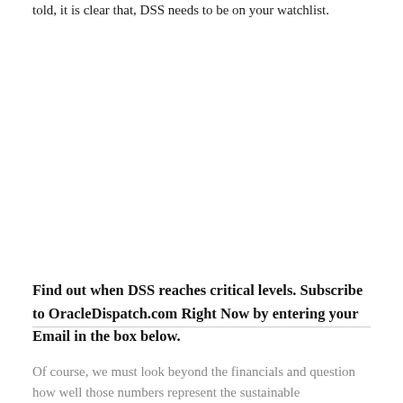told, it is clear that, DSS needs to be on your watchlist.
Find out when DSS reaches critical levels. Subscribe to OracleDispatch.com Right Now by entering your Email in the box below.
Of course, we must look beyond the financials and question how well those numbers represent the sustainable